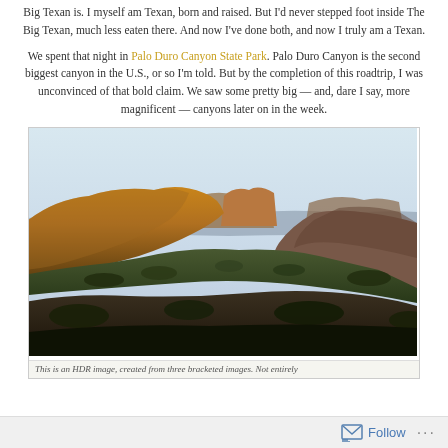Big Texan is. I myself am Texan, born and raised. But I'd never stepped foot inside The Big Texan, much less eaten there. And now I've done both, and now I truly am a Texan.
We spent that night in Palo Duro Canyon State Park. Palo Duro Canyon is the second biggest canyon in the U.S., or so I'm told. But by the completion of this roadtrip, I was unconvinced of that bold claim. We saw some pretty big — and, dare I say, more magnificent — canyons later on in the week.
[Figure (photo): Landscape photo of Palo Duro Canyon showing golden-lit mesa formations with shrubs and canyon walls under a pale sky. HDR image created from bracketed exposures.]
This is an HDR image, created from three bracketed images. Not entirely...
Follow